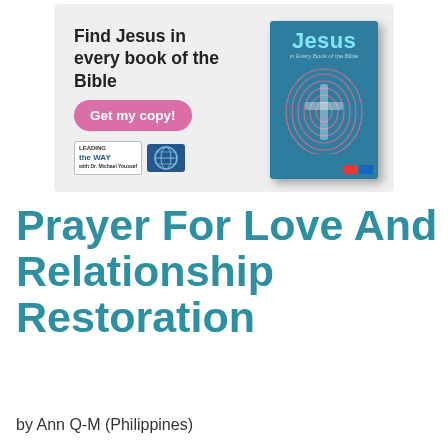[Figure (illustration): Advertisement banner for a book titled 'Jesus in Every Book of the Bible'. Left side shows text 'Find Jesus in every book of the Bible' with a pink rounded button 'Get my copy!' and Leading The Way logos. Right side shows the teal book cover with a fingerprint cross design.]
Prayer For Love And Relationship Restoration
by Ann Q-M (Philippines)